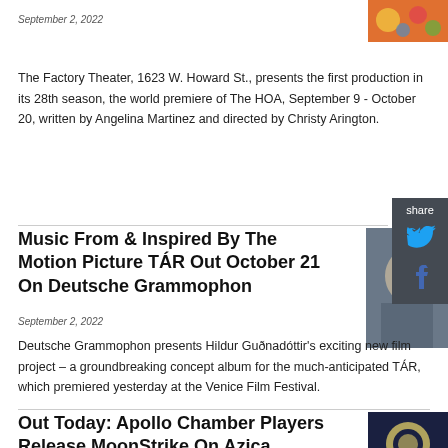September 2, 2022
[Figure (photo): Colorful floral image in top-right corner]
The Factory Theater, 1623 W. Howard St., presents the first production in its 28th season, the world premiere of The HOA, September 9 - October 20, written by Angelina Martinez and directed by Christy Arington.
Music From & Inspired By The Motion Picture TÁR Out October 21 On Deutsche Grammophon
[Figure (photo): Person with closed eyes, indoor background]
September 2, 2022
Deutsche Grammophon presents Hildur Guðnadóttir's exciting new film project – a groundbreaking concept album for the much-anticipated TÁR, which premiered yesterday at the Venice Film Festival.
Out Today: Apollo Chamber Players Release MoonStrike On Azica Records
[Figure (photo): MoonStrike album cover with Apollo Chamber Players branding]